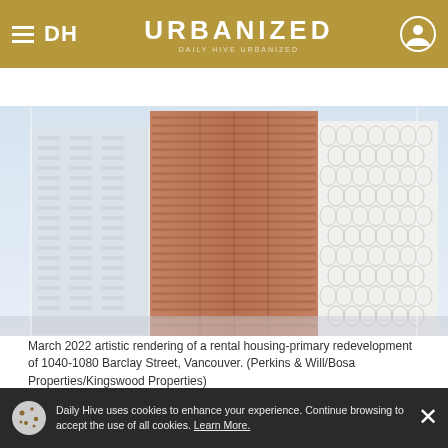DH URBANIZED
REAL ESTATE   DEVELOPMENT   TRANSPORTATION
[Figure (photo): Artistic rendering of tall residential towers at 1040-1080 Barclay Street, Vancouver, showing multiple high-rise buildings with distinct architectural styles including copper-toned and white patterned facades]
March 2022 artistic rendering of a rental housing-primary redevelopment of 1040-1080 Barclay Street, Vancouver. (Perkins & Will/Bosa Properties/Kingswood Properties)
Daily Hive uses cookies to enhance your experience. Continue browsing to accept the use of all cookies. Learn More.